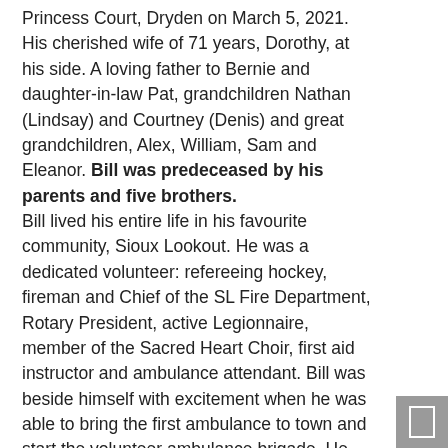Princess Court, Dryden on March 5, 2021. His cherished wife of 71 years, Dorothy, at his side. A loving father to Bernie and daughter-in-law Pat, grandchildren Nathan (Lindsay) and Courtney (Denis) and great grandchildren, Alex, William, Sam and Eleanor. Bill was predeceased by his parents and five brothers.
Bill lived his entire life in his favourite community, Sioux Lookout. He was a dedicated volunteer: refereeing hockey, fireman and Chief of the SL Fire Department, Rotary President, active Legionnaire, member of the Sacred Heart Choir, first aid instructor and ambulance attendant. Bill was beside himself with excitement when he was able to bring the first ambulance to town and start the volunteer ambulance brigade. He and Dorothy delivered meals on wheels well into their eighties. He was proud of his community and the level of care and volunteerism that existed.